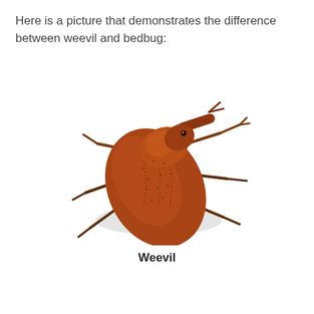Here is a picture that demonstrates the difference between weevil and bedbug:
[Figure (illustration): A close-up photograph of a brown weevil (a type of beetle) with a distinctive long snout, textured brown elytra with dotted ridges, and six jointed legs, shown on a white background with a faint shadow.]
Weevil